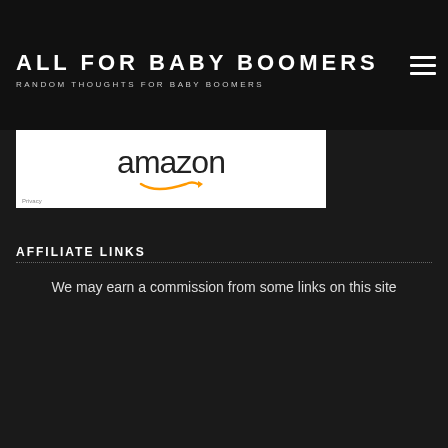ALL FOR BABY BOOMERS — RANDOM THOUGHTS FOR BABY BOOMERS
[Figure (logo): Amazon logo with smile arrow in a white banner]
AFFILIATE LINKS
We may earn a commission from some links on this site